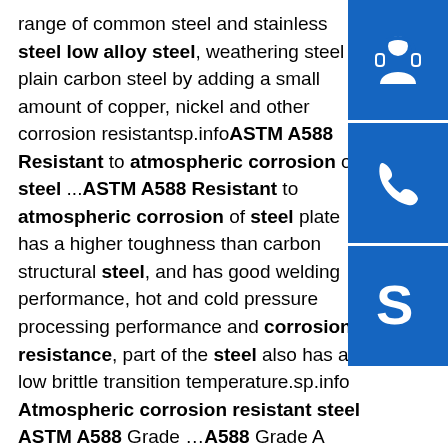range of common steel and stainless steel low alloy steel, weathering steel plain carbon steel by adding a small amount of copper, nickel and other corrosion resistantsp.infoASTM A588 Resistant to atmospheric corrosion of steel ...ASTM A588 Resistant to atmospheric corrosion of steel plate has a higher toughness than carbon structural steel, and has good welding performance, hot and cold pressure processing performance and corrosion resistance, part of the steel also has a low brittle transition temperature.sp.info Atmospheric corrosion resistant steel ASTM A588 Grade ....A588 Grade A atmospheric corrosion resistant HSLA steel is a high-strength low-alloy structural steel with up to a 50 ksi minimum yield point featuring atmospheric corrosion resistance. A588 Grade A atmospheric corrosion resistant HSLA steel is a structural steel in plate form for welding, riveting or bolting in construction applications, primarily welded bridges and buildings where savings in ...
[Figure (illustration): Blue square button with white headset/customer support icon]
[Figure (illustration): Blue square button with white telephone/call icon]
[Figure (illustration): Blue square button with white Skype logo icon]